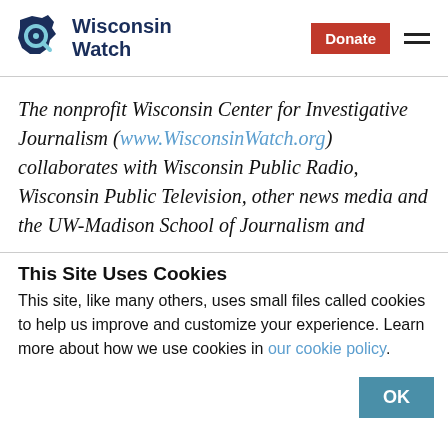[Figure (logo): Wisconsin Watch logo with Wisconsin state outline and magnifying glass icon in dark blue, with 'Wisconsin Watch' text in bold navy]
The nonprofit Wisconsin Center for Investigative Journalism (www.WisconsinWatch.org) collaborates with Wisconsin Public Radio, Wisconsin Public Television, other news media and the UW-Madison School of Journalism and
This Site Uses Cookies
This site, like many others, uses small files called cookies to help us improve and customize your experience. Learn more about how we use cookies in our cookie policy.